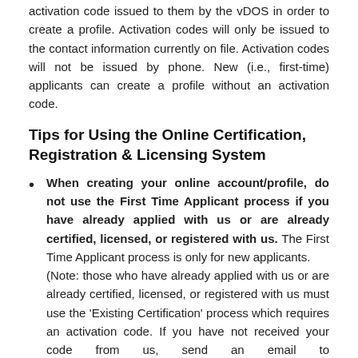activation code issued to them by the vDOS in order to create a profile. Activation codes will only be issued to the contact information currently on file. Activation codes will not be issued by phone. New (i.e., first-time) applicants can create a profile without an activation code.
Tips for Using the Online Certification, Registration & Licensing System
When creating your online account/profile, do not use the First Time Applicant process if you have already applied with us or are already certified, licensed, or registered with us. The First Time Applicant process is only for new applicants. (Note: those who have already applied with us or are already certified, licensed, or registered with us must use the 'Existing Certification' process which requires an activation code. If you have not received your code from us, send an email to guardians@txcourts.gov to receive your code. For security purposes, codes will not be provided by phone.)
Mobile and Apple devices may not be compatible for using our online system.